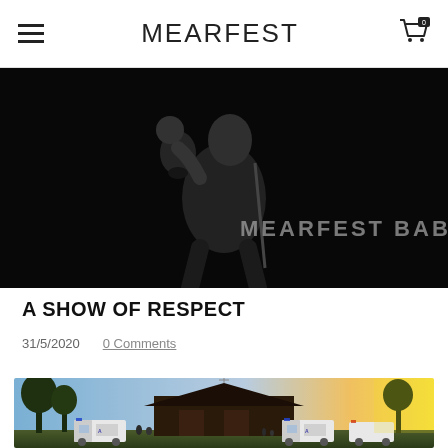MEARFEST
[Figure (photo): Black and white photo of a person holding a child up while performing on stage with a microphone, with text 'MEARFEST BABBLE' overlaid]
A SHOW OF RESPECT
31/5/2020   0 Comments
[Figure (photo): Outdoor photo of ambulances parked in front of a barn/farm building at sunset/golden hour, with people gathered around]